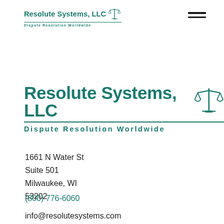Resolute Systems, LLC — Dispute Resolution Worldwide (header logo)
[Figure (logo): Resolute Systems LLC logo with scales of justice icon — large centered version]
1661 N Water St
Suite 501
Milwaukee, WI
53202
(800) 776-6060
info@resolutesystems.com